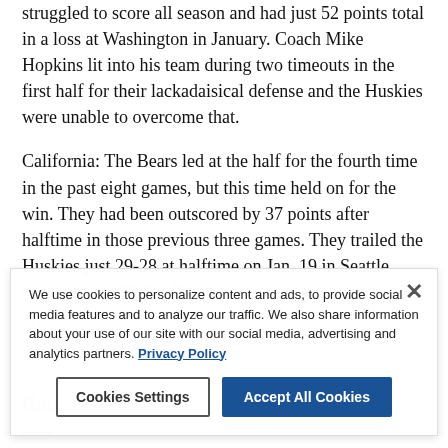struggled to score all season and had just 52 points total in a loss at Washington in January. Coach Mike Hopkins lit into his team during two timeouts in the first half for their lackadaisical defense and the Huskies were unable to overcome that.
California: The Bears led at the half for the fourth time in the past eight games, but this time held on for the win. They had been outscored by 37 points after halftime in those previous three games. They trailed the Huskies just 29-28 at halftime on Jan. 19 in Seattle before losing 71-52. But they put together a complete effort on Sunday... Washington: Visit Stanford on Sunday.
We use cookies to personalize content and ads, to provide social media features and to analyze our traffic. We also share information about your use of our site with our social media, advertising and analytics partners. Privacy Policy
California: Host Washington State on Saturday.